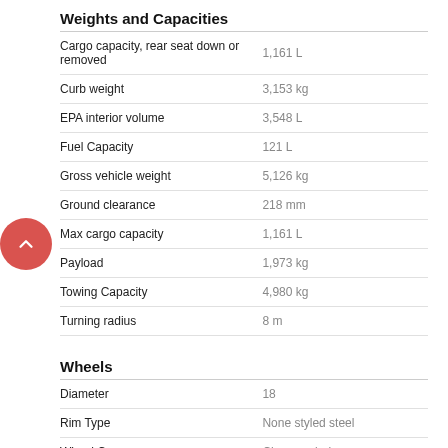Weights and Capacities
|  |  |
| --- | --- |
| Cargo capacity, rear seat down or removed | 1,161 L |
| Curb weight | 3,153 kg |
| EPA interior volume | 3,548 L |
| Fuel Capacity | 121 L |
| Gross vehicle weight | 5,126 kg |
| Ground clearance | 218 mm |
| Max cargo capacity | 1,161 L |
| Payload | 1,973 kg |
| Towing Capacity | 4,980 kg |
| Turning radius | 8 m |
Wheels
|  |  |
| --- | --- |
| Diameter | 18 |
| Rim Type | None styled steel |
| Wheel Covers | Chrome-clad |
| Width | 8 |